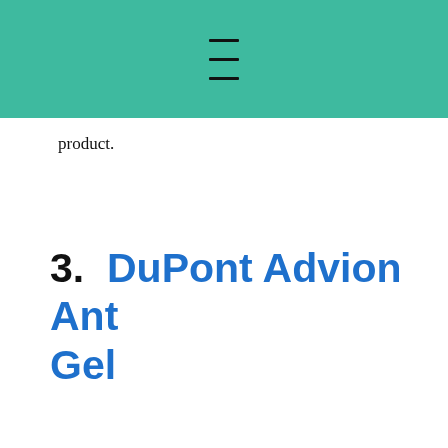≡
product.
3.  DuPont Advion Ant Gel
[Figure (photo): A tube/syringe of DuPont Advion Ant Gel product, shown horizontally against a white background. A dropdown chevron button is visible on the left side.]
[Figure (screenshot): Mobile advertisement banner showing sweetFrog logo, text 'Ashburn' and '20020 Ashbrook Commons Pla...' in blue, with a blue navigation arrow icon on the right and arrow/close icons on the left.]